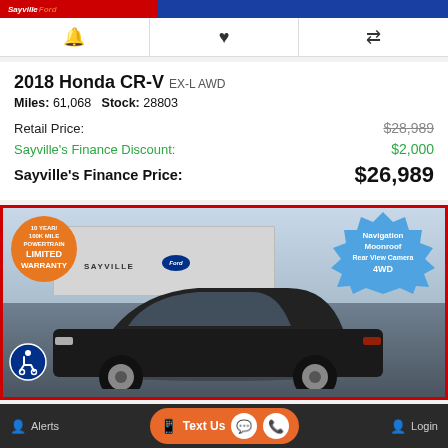Sayville Ford
2018 Honda CR-V EX-L AWD
Miles: 61,068   Stock: 28803
| Label | Price |
| --- | --- |
| Retail Price: | $28,989 |
| Sayville's Finance Discount: | $2,000 |
| Sayville's Finance Price: | $26,989 |
[Figure (photo): Black 2018 Honda CR-V parked in front of Sayville Ford dealership. Orange warranty badge in top-left corner reading '10 YEAR/100K MILE POWERTRAIN LIMITED WARRANTY'. Blue spiky badge in top-right with text 'Navigation Moonroof Rear View Camera 4WD'. Accessibility icon in bottom-left.]
Alerts   Text Us   Login